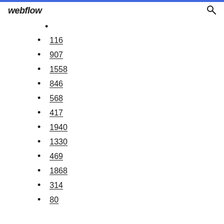webflow
•
116
907
1558
846
568
417
1940
1330
469
1868
314
80